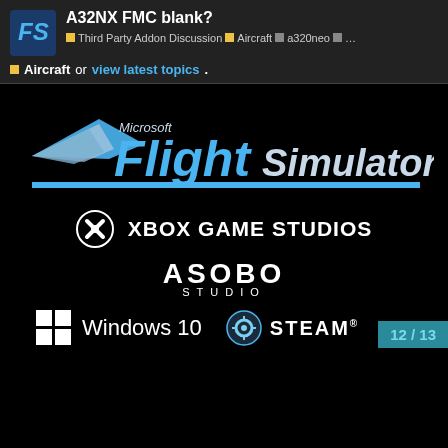A32NX FMC blank?
Third Party Addon Discussion · Aircraft · a320neo · …
Aircraft or view latest topics.
[Figure (logo): Microsoft Flight Simulator logo in blue and silver with wing graphic]
[Figure (logo): Xbox Game Studios logo with Xbox circle icon]
[Figure (logo): Asobo Studio logo in white text]
[Figure (logo): Windows 10 logo with four-pane Windows icon]
[Figure (logo): Steam logo (partially visible)]
12 / 13